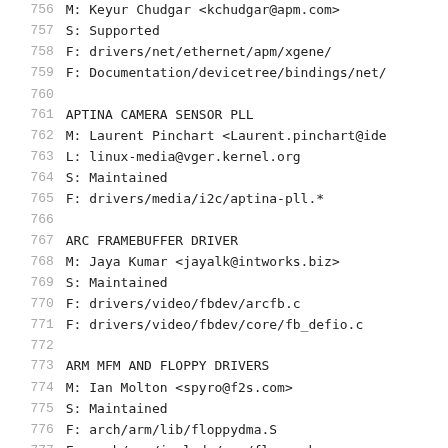756  M:      Keyur Chudgar <kchudgar@apm.com>
757  S:      Supported
758  F:      drivers/net/ethernet/apm/xgene/
759  F:      Documentation/devicetree/bindings/net/
760
761  APTINA CAMERA SENSOR PLL
762  M:      Laurent Pinchart <Laurent.pinchart@ide
763  L:      linux-media@vger.kernel.org
764  S:      Maintained
765  F:      drivers/media/i2c/aptina-pll.*
766
767  ARC FRAMEBUFFER DRIVER
768  M:      Jaya Kumar <jayalk@intworks.biz>
769  S:      Maintained
770  F:      drivers/video/fbdev/arcfb.c
771  F:      drivers/video/fbdev/core/fb_defio.c
772
773  ARM MFM AND FLOPPY DRIVERS
774  M:      Ian Molton <spyro@f2s.com>
775  S:      Maintained
776  F:      arch/arm/lib/floppydma.S
777  F:      arch/arm/include/asm/floppy.h